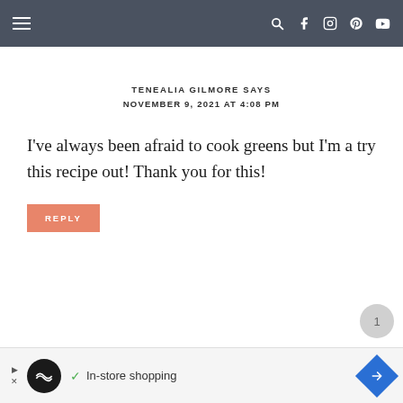Navigation bar with hamburger menu and social icons (search, facebook, instagram, pinterest, youtube)
TENEALIA GILMORE SAYS
NOVEMBER 9, 2021 AT 4:08 PM
I've always been afraid to cook greens but I'm a try this recipe out! Thank you for this!
REPLY
[Figure (other): Advertisement bar with Loops & Local logo, checkmark, 'In-store shopping' text, and navigation arrow icon]